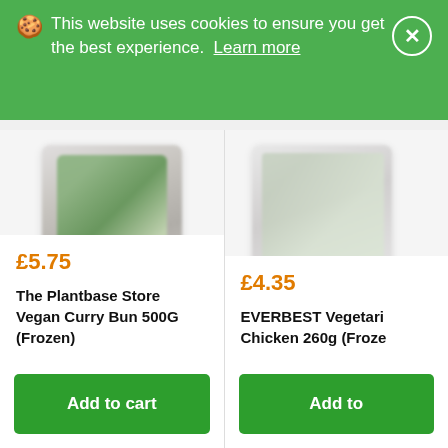🍪 This website uses cookies to ensure you get the best experience. Learn more
[Figure (photo): Product image of The Plantbase Store Vegan Curry Bun 500G (Frozen) - blurred/blurred package photo]
£5.75
The Plantbase Store Vegan Curry Bun 500G (Frozen)
Add to cart
[Figure (photo): Product image of EVERBEST Vegetarian Chicken 260g (Frozen) - partially visible package photo]
£4.35
EVERBEST Vegetarian Chicken 260g (Froze
Add to